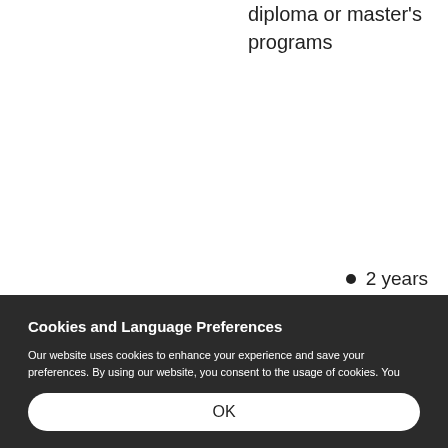diploma or master's programs
2 years
Cookies and Language Preferences
Our website uses cookies to enhance your experience and save your preferences. By using our website, you consent to the usage of cookies. You may refuse to accept or delete cookies stored on your computer through the settings of your web browser. Read our Website Privacy Statement to learn more about the information collected. Our website displays the content in the default language of your browser. Learn how to change the language of your browser.
OK